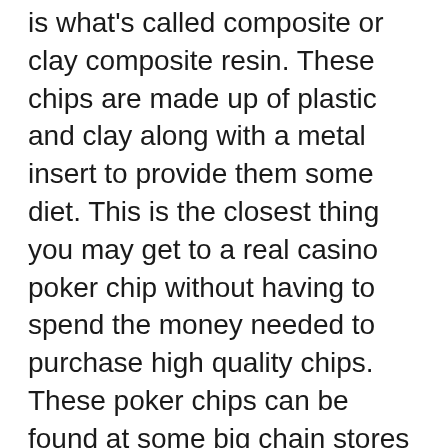is what's called composite or clay composite resin. These chips are made up of plastic and clay along with a metal insert to provide them some diet. This is the closest thing you may get to a real casino poker chip without having to spend the money needed to purchase high quality chips. These poker chips can be found at some big chain stores and generally inexpensive. And then there are them in different weights, colors and also have them personalized online.
Everything happens faster with internet poker because is actually automated. Dealing is quick, betting is quick, action is quick, and it is done a person. You are left along with a game that can take a fraction of the time a normal one would, giving you